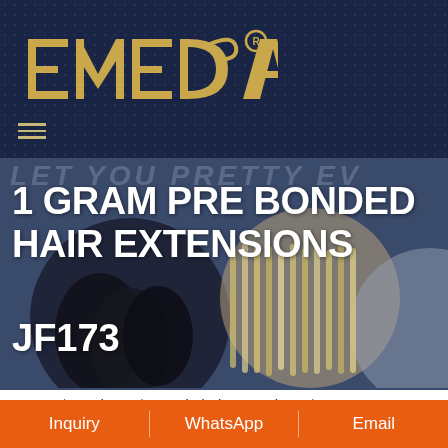[Figure (logo): EMEDA registered trademark logo in gold/tan color on dark navy blue dotted background]
[Figure (photo): Hero section with product images of hair extensions in circular frames on dark blue background, with italic watermark text LET YOU PRETTY EV]
1 GRAM PRE BONDED HAIR EXTENSIONS JF173
Home / Products / Keratin hair extensions / I tip hair extensions
Inquiry | WhatsApp | Email